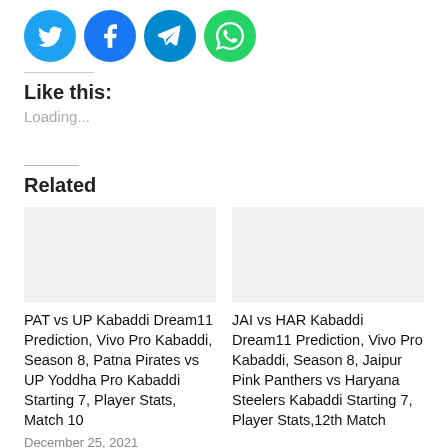[Figure (other): Four circular social media share buttons: Twitter (blue), Facebook (blue), Telegram (cyan-blue), WhatsApp (green)]
Like this:
Loading...
Related
[Figure (photo): Placeholder image for PAT vs UP Kabaddi article]
PAT vs UP Kabaddi Dream11 Prediction, Vivo Pro Kabaddi, Season 8, Patna Pirates vs UP Yoddha Pro Kabaddi Starting 7, Player Stats, Match 10
December 25, 2021
[Figure (photo): Placeholder image for JAI vs HAR Kabaddi article]
JAI vs HAR Kabaddi Dream11 Prediction, Vivo Pro Kabaddi, Season 8, Jaipur Pink Panthers vs Haryana Steelers Kabaddi Starting 7, Player Stats,12th Match
Match